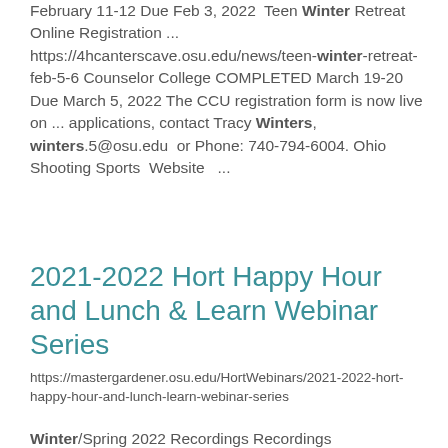February 11-12 Due Feb 3, 2022  Teen Winter Retreat Online Registration ... https://4hcanterscave.osu.edu/news/teen-winter-retreat-feb-5-6 Counselor College COMPLETED March 19-20 Due March 5, 2022 The CCU registration form is now live on ... applications, contact Tracy Winters, winters.5@osu.edu  or Phone: 740-794-6004. Ohio Shooting Sports  Website  ...
2021-2022 Hort Happy Hour and Lunch & Learn Webinar Series
https://mastergardener.osu.edu/HortWebinars/2021-2022-hort-happy-hour-and-lunch-learn-webinar-series
Winter/Spring 2022 Recordings Recordings